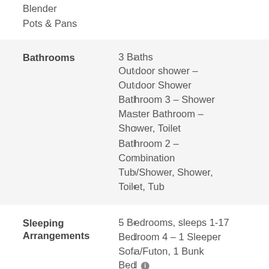Blender
Pots & Pans
Bathrooms
3 Baths
Outdoor shower – Outdoor Shower
Bathroom 3 – Shower
Master Bathroom – Shower, Toilet
Bathroom 2 – Combination Tub/Shower, Shower, Toilet, Tub
Sleeping Arrangements
5 Bedrooms, sleeps 1-17
Bedroom 4 – 1 Sleeper Sofa/Futon, 1 Bunk Bed